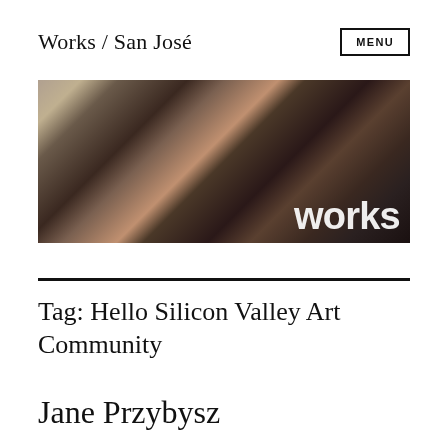Works / San José
[Figure (photo): Banner photo of people gathered in an art gallery viewing artwork on walls, with large white text 'works' overlaid in the bottom right corner]
Tag: Hello Silicon Valley Art Community
Jane Przybysz